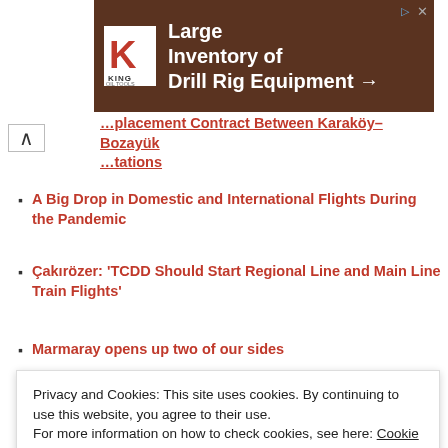[Figure (screenshot): Advertisement banner for King Oil Tools — 'Large Inventory of Drill Rig Equipment →' on brown background with King logo]
…placement Contract Between Karaköy-Bozayük …tations
A Big Drop in Domestic and International Flights During the Pandemic
Çakırözer: 'TCDD Should Start Regional Line and Main Line Train Flights'
Marmaray opens up two of our sides
Two Sides of Menemen Unite
Black Sea and Baltic Sea Unite with Viking Train
Privacy and Cookies: This site uses cookies. By continuing to use this website, you agree to their use.
For more information on how to check cookies, see here: Cookie Policy
Siemens and Gamesa unite